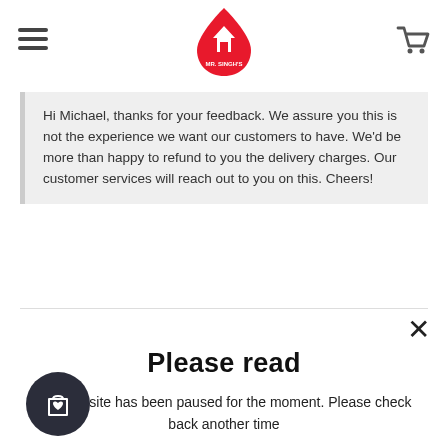[Figure (logo): Mr. Singh's logo — red flame-shaped teardrop with a house silhouette inside, text MR. SINGH'S below]
Hi Michael, thanks for your feedback. We assure you this is not the experience we want our customers to have. We'd be more than happy to refund to you the delivery charges. Our customer services will reach out to you on this. Cheers!
Please read
Our website has been paused for the moment. Please check back another time